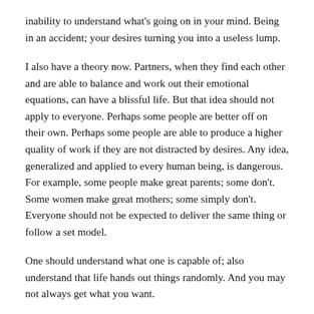inability to understand what's going on in your mind. Being in an accident; your desires turning you into a useless lump.
I also have a theory now. Partners, when they find each other and are able to balance and work out their emotional equations, can have a blissful life. But that idea should not apply to everyone. Perhaps some people are better off on their own. Perhaps some people are able to produce a higher quality of work if they are not distracted by desires. Any idea, generalized and applied to every human being, is dangerous. For example, some people make great parents; some don't. Some women make great mothers; some simply don't. Everyone should not be expected to deliver the same thing or follow a set model.
One should understand what one is capable of; also understand that life hands out things randomly. And you may not always get what you want.
After that Facebook conversation in Kerala, I took a few days